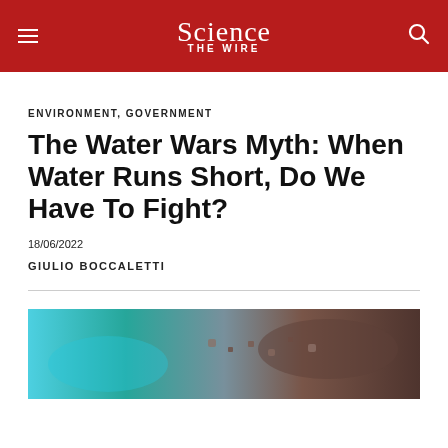Science The Wire
ENVIRONMENT, GOVERNMENT
The Water Wars Myth: When Water Runs Short, Do We Have To Fight?
18/06/2022
GIULIO BOCCALETTI
[Figure (photo): A close-up photo showing a contrast between turquoise water on the left and dry cracked earth on the right, representing water scarcity.]